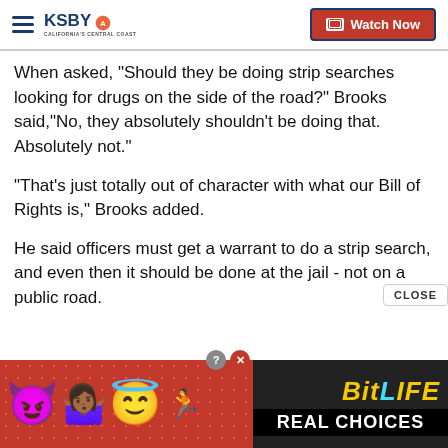KSBY - California's Central Coast | Watch Now
When asked, "Should they be doing strip searches looking for drugs on the side of the road?" Brooks said,"No, they absolutely shouldn't be doing that. Absolutely not."
"That's just totally out of character with what our Bill of Rights is," Brooks added.
He said officers must get a warrant to do a strip search, and even then it should be done at the jail - not on a public road.
[Figure (screenshot): BitLife advertisement banner with emoji characters (devil, person, angel) and text 'REAL CHOICES' at the bottom]